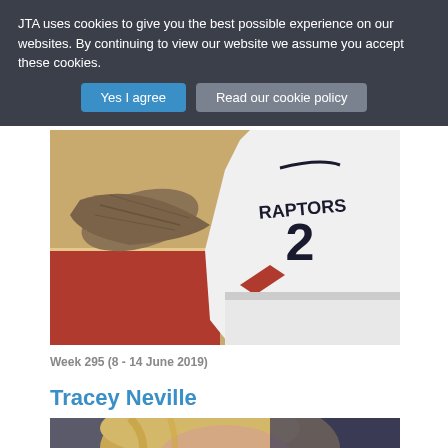JTA uses cookies to give you the best possible experience on our websites. By continuing to view our website we assume you accept these cookies.
Yes I agree | Read our cookie policy
[Figure (photo): Basketball player wearing a Toronto Raptors #2 jersey on a basketball court, extending arm toward the camera.]
Week 295 (8 - 14 June 2019)
Tracey Neville
[Figure (photo): Close-up photo of a blonde woman, partially visible, against a blurred background.]